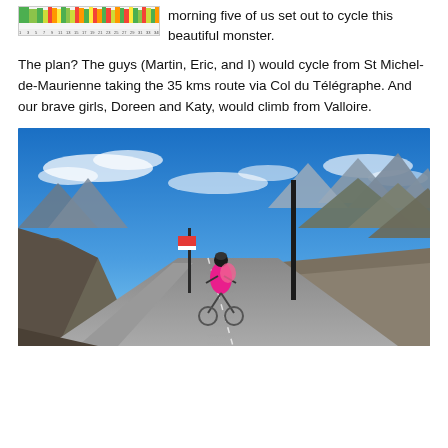[Figure (other): A color-coded elevation/difficulty chart for a cycling route, showing gradient segments across approximately 34 km.]
morning five of us set out to cycle this beautiful monster.
The plan? The guys (Martin, Eric, and I) would cycle from St Michel-de-Maurienne taking the 35 kms route via Col du Télégraphe. And our brave girls, Doreen and Katy, would climb from Valloire.
[Figure (photo): A cyclist in a pink jacket riding up a mountain road near the summit, with rugged mountain peaks and blue sky in the background. A tall dark post/marker is visible on the right side of the road.]